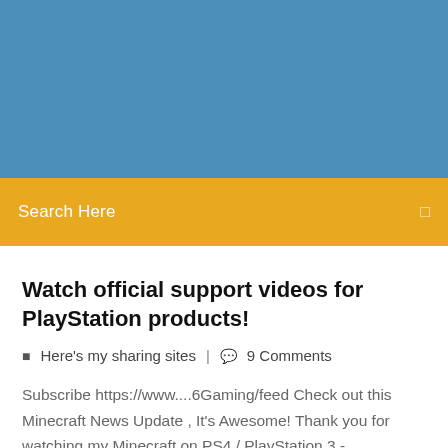[Figure (other): Blue header background area at the top of a webpage]
Search Here
Watch official support videos for PlayStation products!
Here's my sharing sites  |  9 Comments
Subscribe https://www....6Gaming/feed Check out this Minecraft News Update , It's Awesome! Thank you for watching my Minecraft on PS4 / PlayStation 3 -